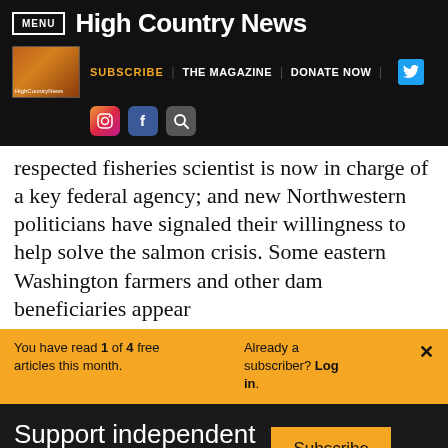MENU | High Country News
SUBSCRIBE | THE MAGAZINE | DONATE NOW
respected fisheries scientist is now in charge of a key federal agency; and new Northwestern politicians have signaled their willingness to help solve the salmon crisis. Some eastern Washington farmers and other dam beneficiaries appear
You have read 1 of 4 free articles this month. Already a subscriber? Log in. ×
Support independent journalism. Subscribe